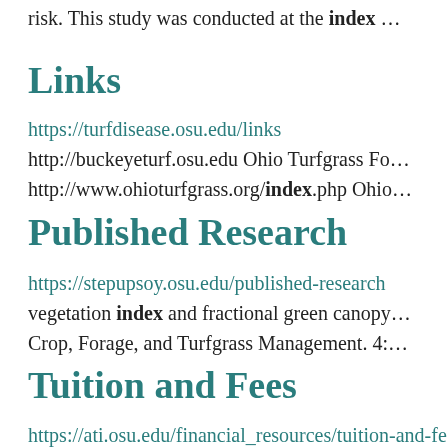risk. This study was conducted at the index …
Links
https://turfdisease.osu.edu/links
http://buckeyeturf.osu.edu Ohio Turfgrass Fo…
http://www.ohioturfgrass.org/index.php Ohio…
Published Research
https://stepupsoy.osu.edu/published-research
vegetation index and fractional green canopy…
Crop, Forage, and Turfgrass Management. 4:…
Tuition and Fees
https://ati.osu.edu/financial_resources/tuition-and-fe…
https://…